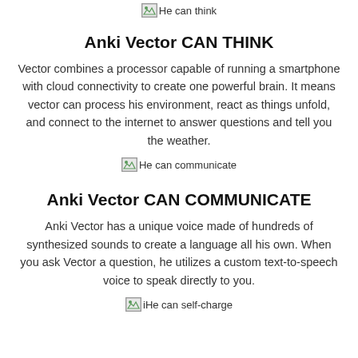[Figure (other): Broken image placeholder with alt text 'He can think']
Anki Vector CAN THINK
Vector combines a processor capable of running a smartphone with cloud connectivity to create one powerful brain. It means vector can process his environment, react as things unfold, and connect to the internet to answer questions and tell you the weather.
[Figure (other): Broken image placeholder with alt text 'He can communicate']
Anki Vector CAN COMMUNICATE
Anki Vector has a unique voice made of hundreds of synthesized sounds to create a language all his own. When you ask Vector a question, he utilizes a custom text-to-speech voice to speak directly to you.
[Figure (other): Broken image placeholder with alt text 'He can self-charge']